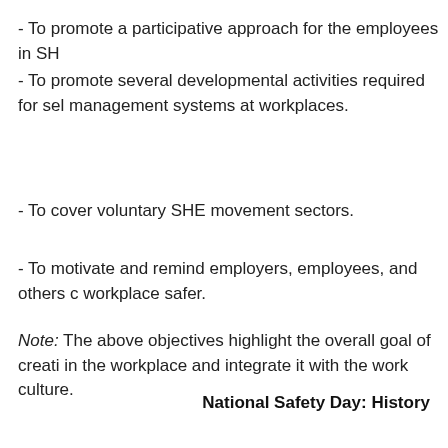- To promote a participative approach for the employees in SH...
- To promote several developmental activities required for self management systems at workplaces.
- To cover voluntary SHE movement sectors.
- To motivate and remind employers, employees, and others c... workplace safer.
Note: The above objectives highlight the overall goal of creati... in the workplace and integrate it with the work culture.
National Safety Day: History